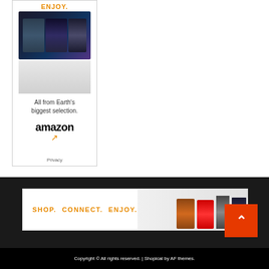[Figure (advertisement): Amazon advertisement banner showing 'ENJOY.' in orange text, movie covers (sci-fi films), product images, 'All from Earth's biggest selection.' text, Amazon logo with orange arrow, and Privacy link]
[Figure (advertisement): Amazon horizontal banner ad on dark background showing 'SHOP. CONNECT. ENJOY.' in orange text with product images including electronics, kitchen appliances, movies]
[Figure (illustration): Orange scroll-to-top button with white chevron/arrow pointing upward]
Copyright © All rights reserved. | Shopical by AF themes.